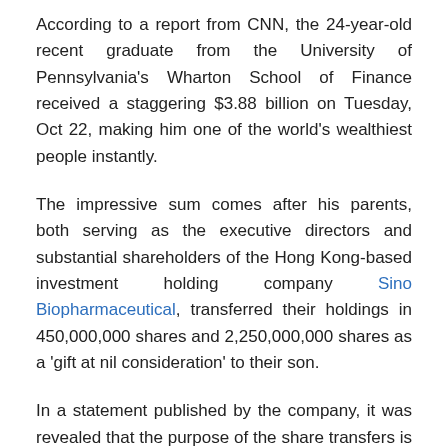According to a report from CNN, the 24-year-old recent graduate from the University of Pennsylvania's Wharton School of Finance received a staggering $3.88 billion on Tuesday, Oct 22, making him one of the world's wealthiest people instantly.
The impressive sum comes after his parents, both serving as the executive directors and substantial shareholders of the Hong Kong-based investment holding company Sino Biopharmaceutical, transferred their holdings in 450,000,000 shares and 2,250,000,000 shares as a 'gift at nil consideration' to their son.
In a statement published by the company, it was revealed that the purpose of the share transfers is "to refine the management and inheritance of family wealth." As part of the